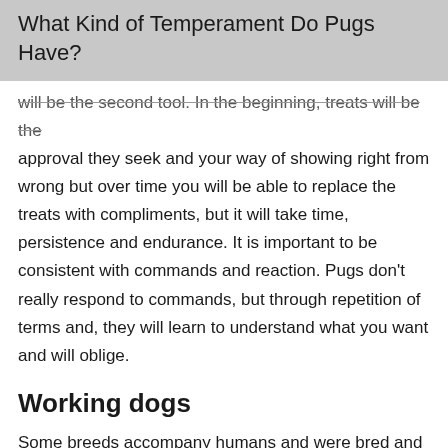What Kind of Temperament Do Pugs Have?
will be the second tool. In the beginning, treats will be the approval they seek and your way of showing right from wrong but over time you will be able to replace the treats with compliments, but it will take time, persistence and endurance. It is important to be consistent with commands and reaction. Pugs don't really respond to commands, but through repetition of terms and, they will learn to understand what you want and will oblige.
Working dogs
Some breeds accompany humans and were bred and e to specific tasks such as hunting, retrieving, a and even attacking. Pugs were bred for over a century to be companion dogs. They were lapdogs for emperors and